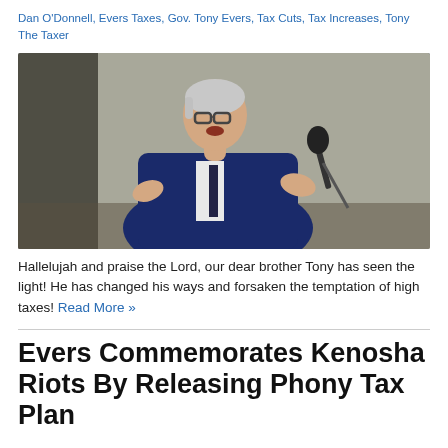Dan O'Donnell, Evers Taxes, Gov. Tony Evers, Tax Cuts, Tax Increases, Tony The Taxer
[Figure (photo): Man in blue suit speaking at a microphone with hands gesturing, side profile, silver hair, glasses]
Hallelujah and praise the Lord, our dear brother Tony has seen the light!  He has changed his ways and forsaken the temptation of high taxes! Read More »
Evers Commemorates Kenosha Riots By Releasing Phony Tax Plan